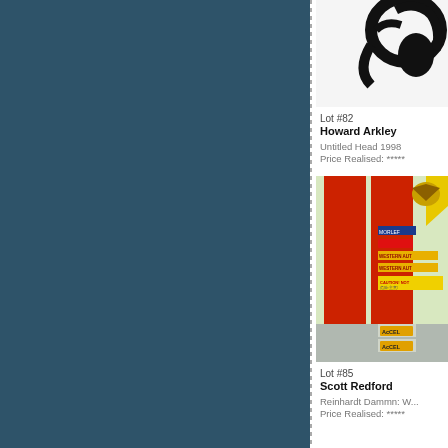[Figure (photo): Dark teal/blue textured fabric or canvas background filling the left portion of the page]
[Figure (photo): Black and white artwork showing abstract head/face shapes - Untitled Head 1998 by Howard Arkley]
Lot #82
Howard Arkley
Untitled Head 1998
Price Realised: *****
[Figure (photo): Colorful artwork showing red vertical stripes on light green/yellow background with various stickers/decals including Western Auto, Tamiya, Accel labels - by Scott Redford]
Lot #85
Scott Redford
Reinhardt Dammn: W...
Price Realised: *****